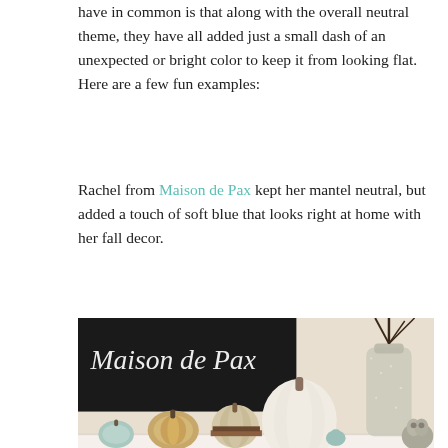have in common is that along with the overall neutral theme, they have all added just a small dash of an unexpected or bright color to keep it from looking flat. Here are a few fun examples:
Rachel from Maison de Pax kept her mantel neutral, but added a touch of soft blue that looks right at home with her fall decor.
[Figure (photo): A fall mantel decoration photo from Maison de Pax blog, showing a chalkboard sign with cursive 'Maison de Pax' text, white pumpkin, gold glitter pumpkin, small blue pumpkin, book-page pumpkin, small teal figurine, and a decorative silver/mercury glass bottle vase with dark twigs, plus a silver owl figurine, all arranged on a white mantel shelf.]